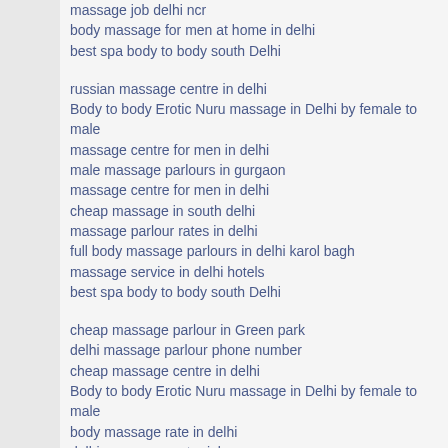massage job delhi ncr
body massage for men at home in delhi
best spa body to body south Delhi
russian massage centre in delhi
Body to body Erotic Nuru massage in Delhi by female to male
massage centre for men in delhi
male massage parlours in gurgaon
massage centre for men in delhi
cheap massage in south delhi
massage parlour rates in delhi
full body massage parlours in delhi karol bagh
massage service in delhi hotels
best spa body to body south Delhi
cheap massage parlour in Green park
delhi massage parlour phone number
cheap massage centre in delhi
Body to body Erotic Nuru massage in Delhi by female to male
body massage rate in delhi
delhi massage center job